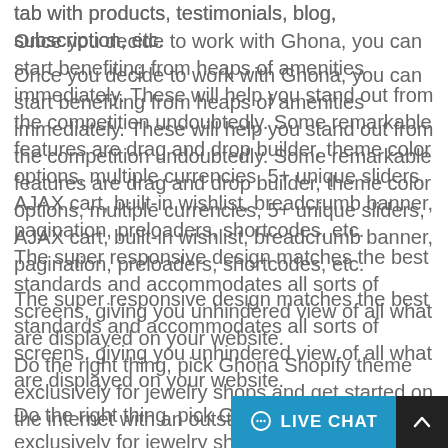tab with products, testimonials, blog, subscription, etc.
Once you decide to work with Ghona, you can start benefiting from heaps of amenities immediately. These will help you stand out from the competition undoubtedly. Some remarkable features are drag and drop builder, theme color options, multiple currencies, 5+ unique sliders, AJAX cart, built-in wishlist, breadcrumb banner, pagination, preloaders, shortcodes, etc.
The super responsive design matches the best standards and accommodates all sorts of screens, giving you unhindered view of all what are displayed on your website.
Do the right thing, pick Ghona Shopify theme exclusively for jewelry shops and get started on the internet with an outstanding web presence.
Main Features List:
4+ Ready Home
Quick Install